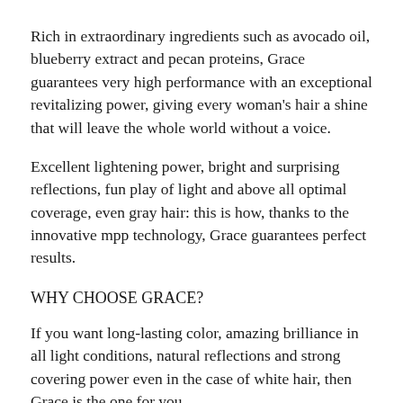Rich in extraordinary ingredients such as avocado oil, blueberry extract and pecan proteins, Grace guarantees very high performance with an exceptional revitalizing power, giving every woman's hair a shine that will leave the whole world without a voice.
Excellent lightening power, bright and surprising reflections, fun play of light and above all optimal coverage, even gray hair: this is how, thanks to the innovative mpp technology, Grace guarantees perfect results.
WHY CHOOSE GRACE?
If you want long-lasting color, amazing brilliance in all light conditions, natural reflections and strong covering power even in the case of white hair, then Grace is the one for you.
The Advanced Micro Pure Pigments (MPP) technology, the result of Nika Hair Beauty Excellence research, using selected pigments at the highest degree of purity (99.5%) subjects them to molecular reduction, obtaining very pure micro pigments that penetrate with exceptional ease into the hair fibers where fully exert their beneficial